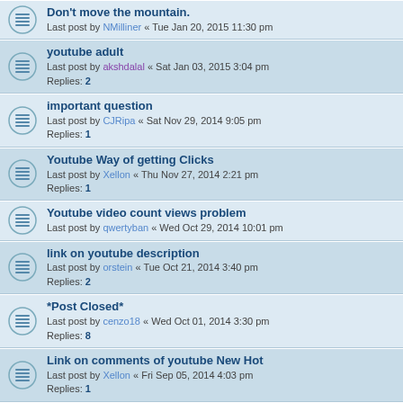Don't move the mountain. Last post by NMilliner « Tue Jan 20, 2015 11:30 pm
youtube adult Last post by akshdalal « Sat Jan 03, 2015 3:04 pm Replies: 2
important question Last post by CJRipa « Sat Nov 29, 2014 9:05 pm Replies: 1
Youtube Way of getting Clicks Last post by Xellon « Thu Nov 27, 2014 2:21 pm Replies: 1
Youtube video count views problem Last post by qwertyban « Wed Oct 29, 2014 10:01 pm
link on youtube description Last post by orstein « Tue Oct 21, 2014 3:40 pm Replies: 2
*Post Closed* Last post by cenzo18 « Wed Oct 01, 2014 3:30 pm Replies: 8
Link on comments of youtube New Hot Last post by Xellon « Fri Sep 05, 2014 4:03 pm Replies: 1
My Youtube Channel :D Last post by SupportAdFly « Mon May 16, 2022 1:31 pm Replies: 17
FREE YOUTUBE INTRO VIDEO (DOWNLOAD)